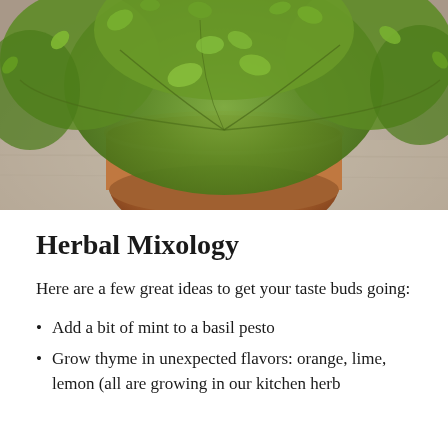[Figure (photo): A terra cotta pot with lush green thyme or herb plant cascading over the sides, photographed on a wooden surface with a soft gray-brown background.]
Herbal Mixology
Here are a few great ideas to get your taste buds going:
Add a bit of mint to a basil pesto
Grow thyme in unexpected flavors: orange, lime, lemon (all are growing in our kitchen herb